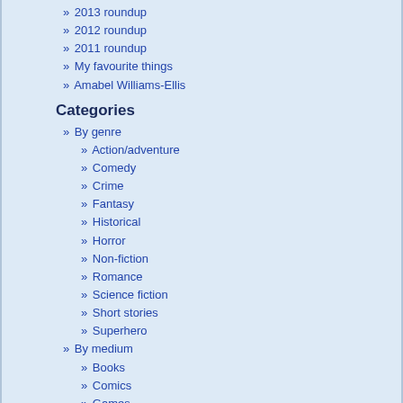» 2013 roundup
» 2012 roundup
» 2011 roundup
» My favourite things
» Amabel Williams-Ellis
Categories
» By genre
» Action/adventure
» Comedy
» Crime
» Fantasy
» Historical
» Horror
» Non-fiction
» Romance
» Science fiction
» Short stories
» Superhero
» By medium
» Books
» Comics
» Games
» Manga
» Movies
» Music
» Theatre
» TV
» For kids
» Junior fiction
» Middle fiction
» Picture books